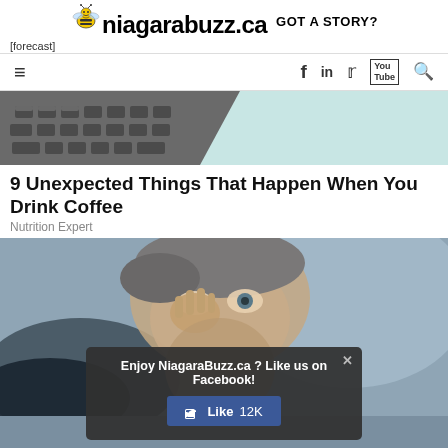niagarabuzz.ca  GOT A STORY?
[forecast]
[Figure (screenshot): Navigation bar with hamburger menu icon on left, social media icons (Facebook, LinkedIn, Twitter, YouTube, Search) on right]
[Figure (photo): Top hero image showing a keyboard on the left and a light teal background on the right]
9 Unexpected Things That Happen When You Drink Coffee
Nutrition Expert
[Figure (photo): Photo of an older woman with short grey hair holding her hand near her eye, looking surprised or concerned, against a blue-grey blurred background. A dark overlay popup reads: Enjoy NiagaraBuzz.ca ? Like us on Facebook! with a blue Like 12K button and an X close button.]